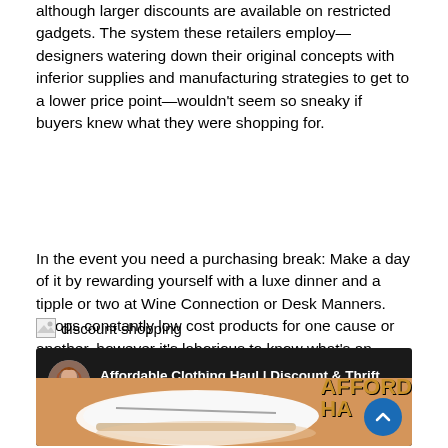although larger discounts are available on restricted gadgets. The system these retailers employ—designers watering down their original concepts with inferior supplies and manufacturing strategies to get to a lower price point—wouldn't seem so sneaky if buyers knew what they were shopping for.
In the event you need a purchasing break: Make a day of it by rewarding yourself with a luxe dinner and a tipple or two at Wine Connection or Desk Manners. Shops constantly low cost products for one cause or another, however it's laborious to know what's an excellent deal and what is not.
[Figure (photo): Broken image placeholder with alt text 'discount shopping']
[Figure (screenshot): YouTube video thumbnail for 'Affordable Clothing Haul | Discount & Thrift ...' showing a circular avatar of a woman with red hair, white sneaker shoe image, and orange/gold text 'AFFORD HA' on dark background with blue scroll-to-top button]